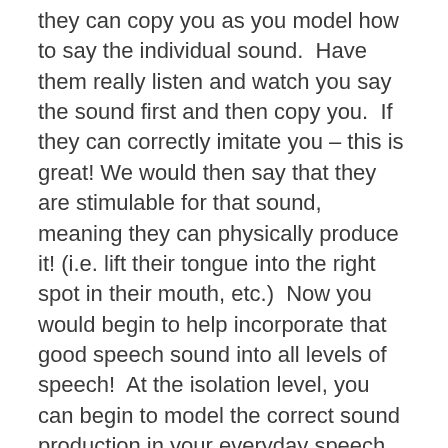they can copy you as you model how to say the individual sound.  Have them really listen and watch you say the sound first and then copy you.  If they can correctly imitate you – this is great! We would then say that they are stimulable for that sound, meaning they can physically produce it! (i.e. lift their tongue into the right spot in their mouth, etc.)  Now you would begin to help incorporate that good speech sound into all levels of speech!  At the isolation level, you can begin to model the correct sound production in your everyday speech with your child. Try to highlight and emphasize it whenever you say it.  Print out some of the worksheets that have their sound in them and talk about the words and the pictures